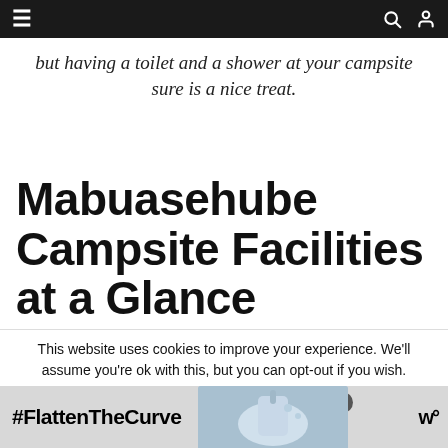Navigation bar with hamburger menu, search and user icons
but having a toilet and a shower at your campsite sure is a nice treat.
Mabuasehube Campsite Facilities at a Glance
IMPORTANT: CAMPSITES MAY NOT ALWAYS HAVE WATER! These sites had
This website uses cookies to improve your experience. We'll assume you're ok with this, but you can opt-out if you wish.
[Figure (other): Advertisement banner with #FlattenTheCurve hashtag, handwashing image, and W logo]